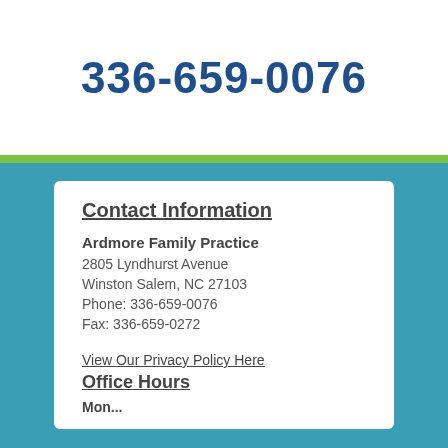336-659-0076
Contact Information
Ardmore Family Practice
2805 Lyndhurst Avenue
Winston Salem, NC 27103
Phone: 336-659-0076
Fax: 336-659-0272
View Our Privacy Policy Here
Office Hours
Mon...